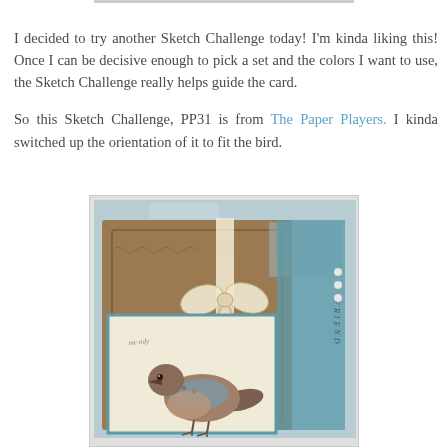I decided to try another Sketch Challenge today! I'm kinda liking this! Once I can be decisive enough to pick a set and the colors I want to use, the Sketch Challenge really helps guide the card.
So this Sketch Challenge, PP31 is from The Paper Players. I kinda switched up the orientation of it to fit the bird.
[Figure (photo): A handmade craft card featuring a stamped bird (robin/thrush) on a cream panel with a teal border, set against a brown card base with decorative scalloped edges. A lace ribbon bow is tied near the top center. The word 'FRIEND' appears vertically on the right side. Three white pearl dots are visible. The background shows a blue-grey surface.]